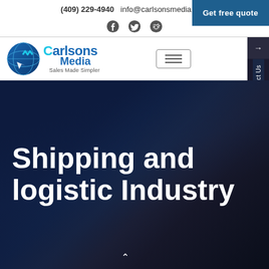(409) 229-4940  info@carlsonsmedia.com
Get free quote
[Figure (logo): Carlsons Media logo with globe/cursor icon and text 'Carlsons Media - Sales Made Simpler']
Shipping and logistic Industry